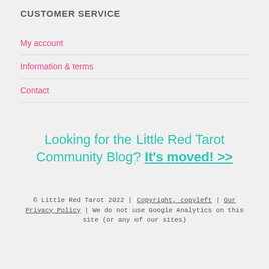CUSTOMER SERVICE
My account
Information & terms
Contact
Looking for the Little Red Tarot Community Blog? It's moved! >>
© Little Red Tarot 2022 | Copyright, copyleft | Our Privacy Policy | We do not use Google Analytics on this site (or any of our sites)